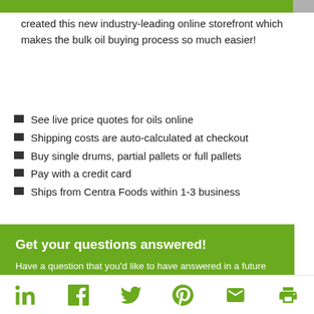created this new industry-leading online storefront which makes the bulk oil buying process so much easier!
See live price quotes for oils online
Shipping costs are auto-calculated at checkout
Buy single drums, partial pallets or full pallets
Pay with a credit card
Ships from Centra Foods within 1-3 business
Get your questions answered!
Have a question that you'd like to have answered in a future article?  Tell us below so that we can write an article to address exactly what you want to learn.